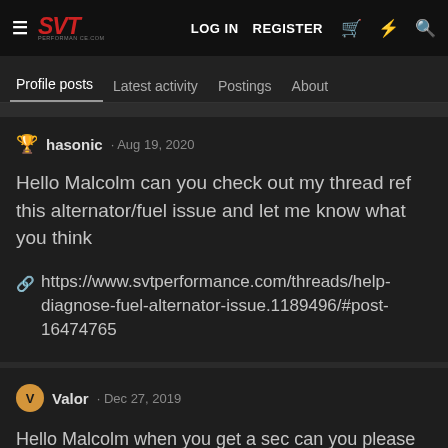SVT Performance — LOG IN   REGISTER
Profile posts   Latest activity   Postings   About
hasonic · Aug 19, 2020
Hello Malcolm can you check out my thread ref this alternator/fuel issue and let me know what you think
https://www.svtperformance.com/threads/help-diagnose-fuel-alternator-issue.1189496/#post-16474765
Valor · Dec 27, 2019
Hello Malcolm when you get a sec can you please call me at (508) 264-5559 thanks had a couple of